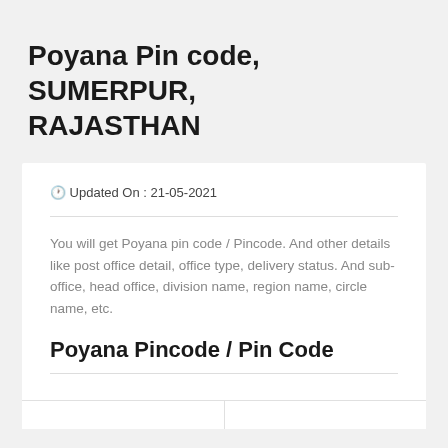Poyana Pin code, SUMERPUR, RAJASTHAN
🕐 Updated On : 21-05-2021
You will get Poyana pin code / Pincode. And other details like post office detail, office type, delivery status. And sub-office, head office, division name, region name, circle name, etc.
Poyana Pincode / Pin Code